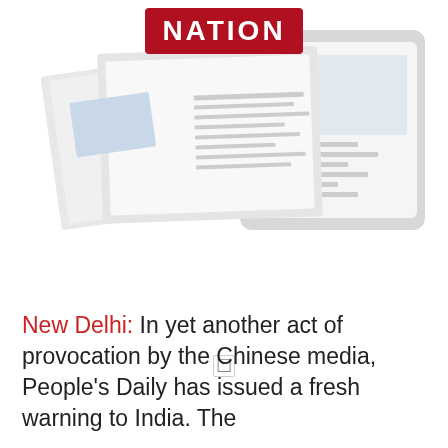[Figure (illustration): A newspaper/magazine display showing pages with a red banner logo reading NATION in white text on a dark red background. The image shows printed pages and digital tablets fanned out, mostly white and light gray tones.]
New Delhi: In yet another act of provocation by the Chinese media, People's Daily has issued a fresh warning to India. The